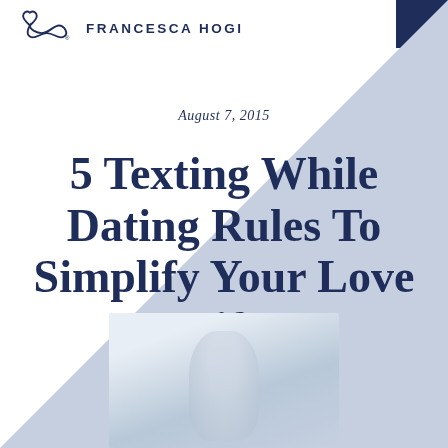[Figure (logo): Francesca Hogi logo with infinity heart symbol and brand name FRANCESCA HOGI]
August 7, 2015
5 Texting While Dating Rules To Simplify Your Love Life
[Figure (photo): Blurred photo of a person, partially visible at bottom of page]